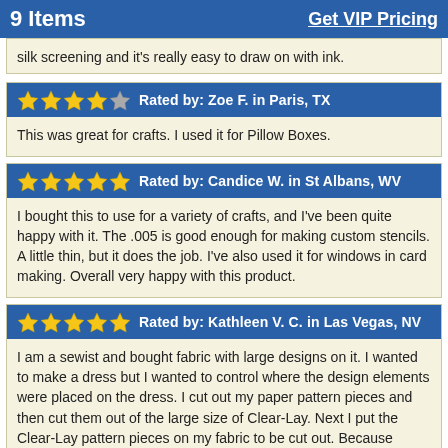9 Items    Get VIP Pricing
silk screening and it's really easy to draw on with ink.
Rated by: Zoe F. in Paris, TX — 4 stars
This was great for crafts. I used it for Pillow Boxes.
Rated by: Candice W. in St Albans, WV — 5 stars
I bought this to use for a variety of crafts, and I've been quite happy with it. The .005 is good enough for making custom stencils. A little thin, but it does the job. I've also used it for windows in card making. Overall very happy with this product.
Rated by: Kathleen V. C. in Las Vegas, NV — 5 stars
I am a sewist and bought fabric with large designs on it. I wanted to make a dress but I wanted to control where the design elements were placed on the dress. I cut out my paper pattern pieces and then cut them out of the large size of Clear-Lay. Next I put the Clear-Lay pattern pieces on my fabric to be cut out. Because Clear-Lay is